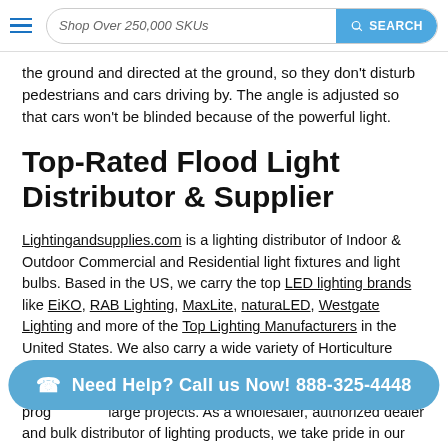Shop Over 250,000 SKUs | SEARCH
the ground and directed at the ground, so they don't disturb pedestrians and cars driving by. The angle is adjusted so that cars won't be blinded because of the powerful light.
Top-Rated Flood Light Distributor & Supplier
Lightingandsupplies.com is a lighting distributor of Indoor & Outdoor Commercial and Residential light fixtures and light bulbs. Based in the US, we carry the top LED lighting brands like EiKO, RAB Lighting, MaxLite, naturaLED, Westgate Lighting and more of the Top Lighting Manufacturers in the United States. We also carry a wide variety of Horticulture products by Hydrofarm, along with ceiling fans by RP Lighting+Fans. Lightingandsupplies.com also provides rebate programs for large projects. As a wholesaler, authorized dealer and bulk distributor of lighting products, we take pride in our customer
Need Help? Call us Now! 888-325-4448